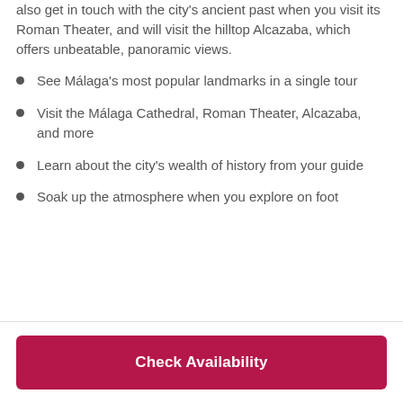also get in touch with the city's ancient past when you visit its Roman Theater, and will visit the hilltop Alcazaba, which offers unbeatable, panoramic views.
See Málaga's most popular landmarks in a single tour
Visit the Málaga Cathedral, Roman Theater, Alcazaba, and more
Learn about the city's wealth of history from your guide
Soak up the atmosphere when you explore on foot
Check Availability